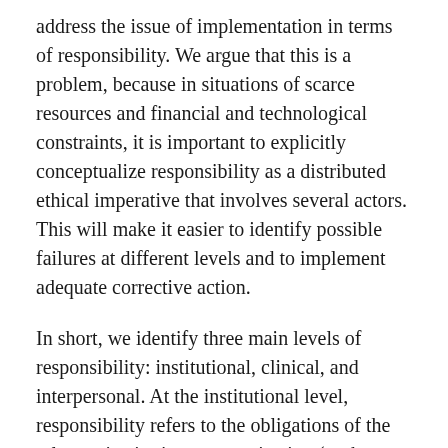address the issue of implementation in terms of responsibility. We argue that this is a problem, because in situations of scarce resources and financial and technological constraints, it is important to explicitly conceptualize responsibility as a distributed ethical imperative that involves several actors. This will make it easier to identify possible failures at different levels and to implement adequate corrective action.
In short, we identify three main levels of responsibility: institutional, clinical, and interpersonal. At the institutional level, responsibility refers to the obligations of the relevant institution or organization (such as the hospital or the research centre). At the clinical level, responsibility refers to the obligations of the clinical staff. At the interpersonal level, responsibility refers to the involvement of different stakeholders with individual patients (more specifically, institutions, clinicians, and families/surrogates).